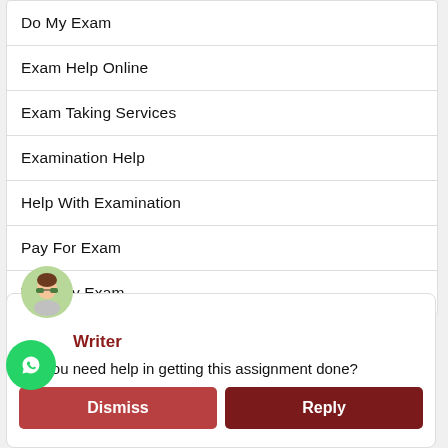Do My Exam
Exam Help Online
Exam Taking Services
Examination Help
Help With Examination
Pay For Exam
Take My Exam
Writer
Do you need help in getting this assignment done?
Dismiss
Reply